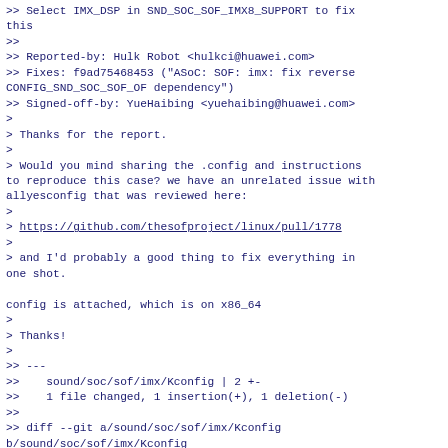>> Select IMX_DSP in SND_SOC_SOF_IMX8_SUPPORT to fix this
>>
>> Reported-by: Hulk Robot <hulkci@huawei.com>
>> Fixes: f9ad75468453 ("ASoC: SOF: imx: fix reverse CONFIG_SND_SOC_SOF_OF dependency")
>> Signed-off-by: YueHaibing <yuehaibing@huawei.com>
>
> Thanks for the report.
>
> Would you mind sharing the .config and instructions to reproduce this case? we have an unrelated issue with allyesconfig that was reviewed here:
>
> https://github.com/thesofproject/linux/pull/1778
>
> and I'd probably a good thing to fix everything in one shot.

config is attached, which is on x86_64
>
> Thanks!
>
>> ---
>>    sound/soc/sof/imx/Kconfig | 2 +-
>>    1 file changed, 1 insertion(+), 1 deletion(-)
>>
>> diff --git a/sound/soc/sof/imx/Kconfig
b/sound/soc/sof/imx/Kconfig